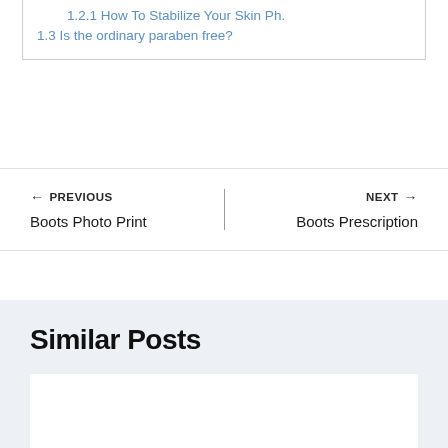1.2.1 How To Stabilize Your Skin Ph.
1.3 Is the ordinary paraben free?
← PREVIOUS
Boots Photo Print
NEXT →
Boots Prescription
Similar Posts